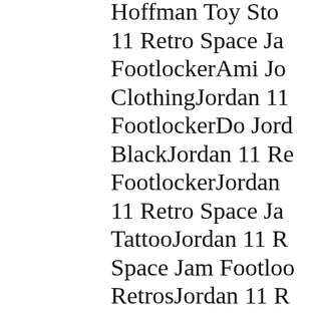Hoffman Toy Sto 11 Retro Space Ja FootlockerAmi Jo ClothingJordan 11 FootlockerDo Jord BlackJordan 11 Re FootlockerJordan 11 Retro Space Ja TattooJordan 11 R Space Jam Footloo RetrosJordan 11 R FootlockerTop 10 truck dealership lo Kenworth, Mack a Free shipping . Ai Retro Black Metal Metallic Fear Bre Metallic â€¦Jordan Brinson From the Jordan and Nike h Pinnacle 6S Jorda University is prou student veterans si â€¦Jordan 11 Retro Jordan 32 Compa 11 Retro Space